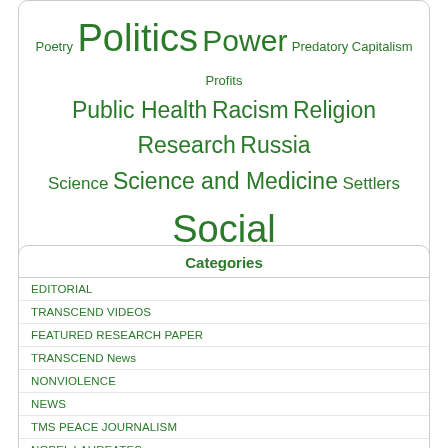[Figure (infographic): Tag cloud with green text tags of varying sizes related to political, social, and global topics including Poetry, Politics, Power, Predatory Capitalism, Profits, Public Health, Racism, Religion, Research, Russia, Science, Science and Medicine, Settlers, Social justice, Solutions, State Terrorism, Structural violence, Super rich, Surveillance, Sweden, Terrorism, Torture, Trump, UK, Ukraine, UN, United Nations, USA, US Military, Vaccines, Violence, Violent conflict, War, Warfare, War on Terror, West, West Bank, Whistleblowing, WHO, WikiLeaks, World, Zionism]
Categories
EDITORIAL
TRANSCEND VIDEOS
FEATURED RESEARCH PAPER
TRANSCEND News
NONVIOLENCE
NEWS
TMS PEACE JOURNALISM
NOBEL LAUREATES
CONFLICT RESOLUTION – MEDIATION